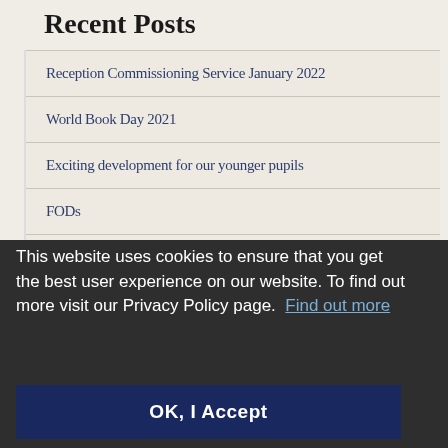Recent Posts
Reception Commissioning Service January 2022
World Book Day 2021
Exciting development for our younger pupils
FODs
Christingse
This website uses cookies to ensure that you get the best user experience on our website. To find out more visit our Privacy Policy page.  Find out more
OK, I Accept